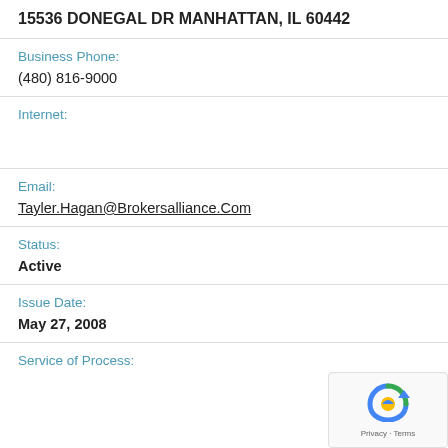15536 DONEGAL DR MANHATTAN, IL 60442
Business Phone:
(480) 816-9000
Internet:
Email:
Tayler.Hagan@Brokersalliance.Com
Status:
Active
Issue Date:
May 27, 2008
Service of Process: